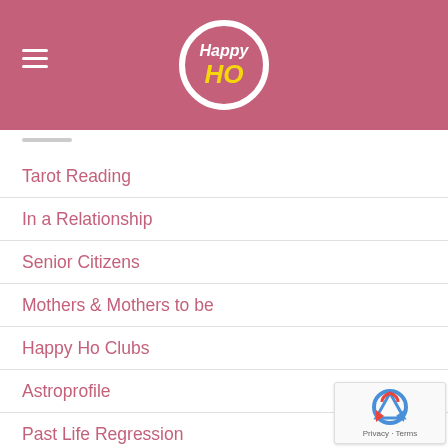[Figure (logo): Happy Ho logo: pink circle with white 'Happy' text and yellow 'HO' text, on a mauve/pink header bar with hamburger menu icon on the left]
Tarot Reading
In a Relationship
Senior Citizens
Mothers & Mothers to be
Happy Ho Clubs
Astroprofile
Past Life Regression
Happy Ho Support
Neuro Linguistic Programming
Reiki Healing